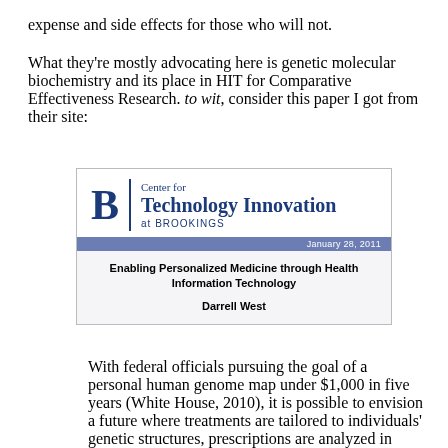expense and side effects for those who will not.
What they're mostly advocating here is genetic molecular biochemistry and its place in HIT for Comparative Effectiveness Research. to wit, consider this paper I got from their site:
[Figure (other): Cover image of a Brookings Institution paper: 'Center for Technology Innovation at BROOKINGS', dated January 28, 2011. Title: 'Enabling Personalized Medicine through Health Information Technology' by Darrell West.]
With federal officials pursuing the goal of a personal human genome map under $1,000 in five years (White House, 2010), it is possible to envision a future where treatments are tailored to individuals' genetic structures, prescriptions are analyzed in advance for likely effectiveness, and researchers study clinical data in real-time to learn what works. Implementation of these regimens creates a situation where treatments are better